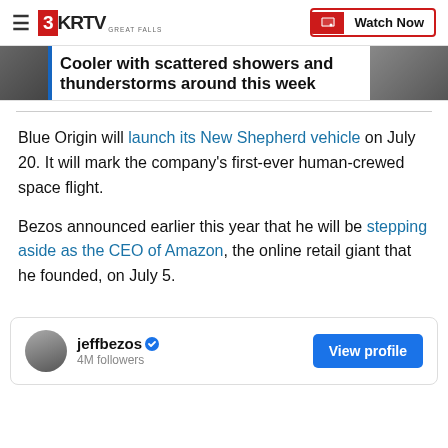3KRTV GREAT FALLS | Watch Now
Cooler with scattered showers and thunderstorms around this week
Blue Origin will launch its New Shepherd vehicle on July 20. It will mark the company's first-ever human-crewed space flight.
Bezos announced earlier this year that he will be stepping aside as the CEO of Amazon, the online retail giant that he founded, on July 5.
[Figure (screenshot): Embedded social media profile card for jeffbezos with 4M followers and a View profile button]